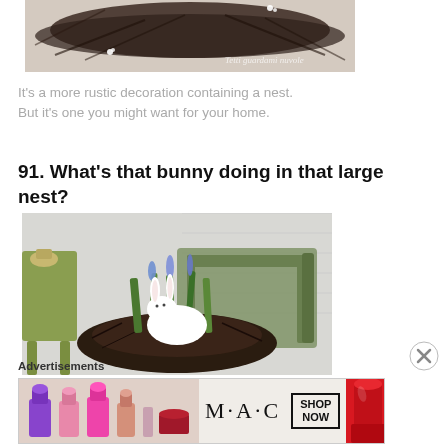[Figure (photo): Close-up of a rustic twig/branch nest or wreath, dark brown branches with small white flowers, on a white background. Watermark text 'Tetti guardami nuvole' in italic.]
It's a more rustic decoration containing a nest. But it's one you might want for your home.
91. What's that bunny doing in that large nest?
[Figure (photo): A white ceramic bunny figurine sitting in a large dark twig nest, surrounded by green grass and blue muscari flowers, placed on a green wooden chair, with a green side table in the background.]
Advertisements
[Figure (screenshot): MAC Cosmetics advertisement banner showing colorful lipsticks on the left, MAC logo in the center, and a SHOP NOW box, with a red lipstick on the right.]